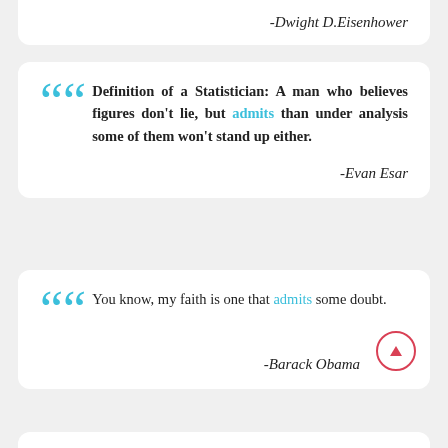-Dwight D.Eisenhower
Definition of a Statistician: A man who believes figures don't lie, but admits than under analysis some of them won't stand up either.
-Evan Esar
You know, my faith is one that admits some doubt.
-Barack Obama